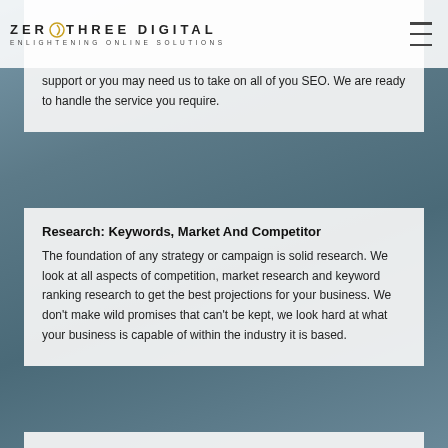ZERO THREE DIGITAL ENLIGHTENING ONLINE SOLUTIONS
support or you may need us to take on all of you SEO. We are ready to handle the service you require.
Research: Keywords, Market And Competitor
The foundation of any strategy or campaign is solid research. We look at all aspects of competition, market research and keyword ranking research to get the best projections for your business. We don't make wild promises that can't be kept, we look hard at what your business is capable of within the industry it is based.